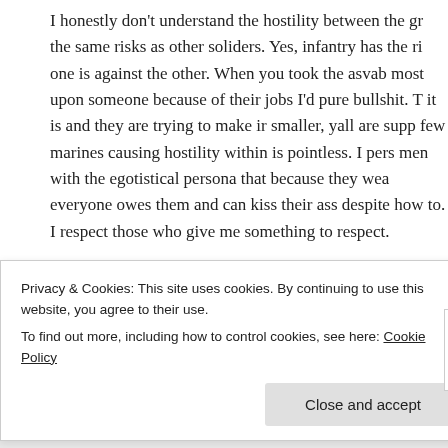I honestly don't understand the hostility between the gr the same risks as other soliders. Yes, infantry has the ri one is against the other. When you took the asvab most upon someone because of their jobs I'd pure bullshit. T it is and they are trying to make ir smaller, yall are supp few marines causing hostility within is pointless. I pers men with the egotistical persona that because they wea everyone owes them and can kiss their ass despite how to. I respect those who give me something to respect.
★ Like
stacie says:
Privacy & Cookies: This site uses cookies. By continuing to use this website, you agree to their use.
To find out more, including how to control cookies, see here: Cookie Policy
Close and accept